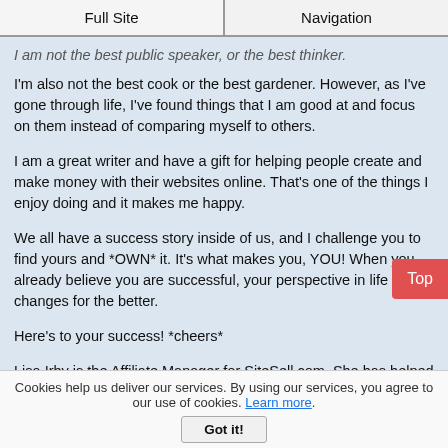Full Site | Navigation
I am not the best public speaker, or the best thinker. I'm also not the best cook or the best gardener. However, as I've gone through life, I've found things that I am good at and focus on them instead of comparing myself to others.
I am a great writer and have a gift for helping people create and make money with their websites online. That's one of the things I enjoy doing and it makes me happy.
We all have a success story inside of us, and I challenge you to find yours and *OWN* it. It's what makes you, YOU! When you already believe you are successful, your perspective in life changes for the better.
Here's to your success! *cheers*
Lisa Irby is the Affiliate Manager for SiteSell.com. She has helped hundreds of "newbies" create a profitable website through her online tutorials.
Cookies help us deliver our services. By using our services, you agree to our use of cookies. Learn more.
Got it!